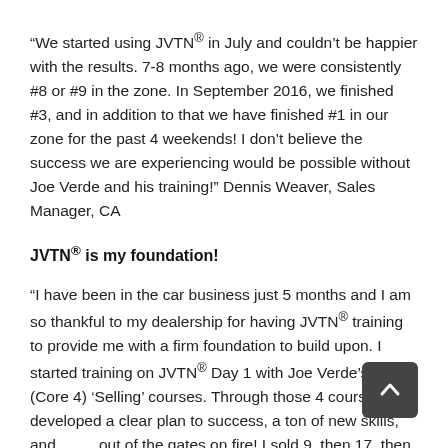“We started using JVTN® in July and couldn’t be happier with the results. 7-8 months ago, we were consistently #8 or #9 in the zone. In September 2016, we finished #3, and in addition to that we have finished #1 in our zone for the past 4 weekends! I don’t believe the success we are experiencing would be possible without Joe Verde and his training!” Dennis Weaver, Sales Manager, CA
JVTN® is my foundation!
“I have been in the car business just 5 months and I am so thankful to my dealership for having JVTN® training to provide me with a firm foundation to build upon. I started training on JVTN® Day 1 with Joe Verde’s first 4 (Core 4) ‘Selling’ courses. Through those 4 courses, I developed a clear plan to success, a ton of new skills, and came out of the gates on fire! I sold 9, then 17, then 25 cars and last month I sold 22 which puts my new current average at 21